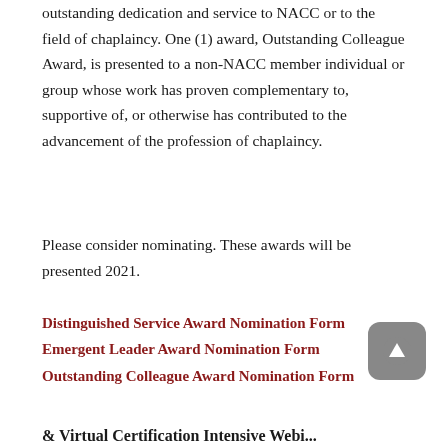outstanding dedication and service to NACC or to the field of chaplaincy. One (1) award, Outstanding Colleague Award, is presented to a non-NACC member individual or group whose work has proven complementary to, supportive of, or otherwise has contributed to the advancement of the profession of chaplaincy.
Please consider nominating. These awards will be presented 2021.
Distinguished Service Award Nomination Form
Emergent Leader Award Nomination Form
Outstanding Colleague Award Nomination Form
[Figure (other): Scroll-to-top button: a rounded gray square with a white upward arrow icon]
& Virtual Certification Intensive Webi...